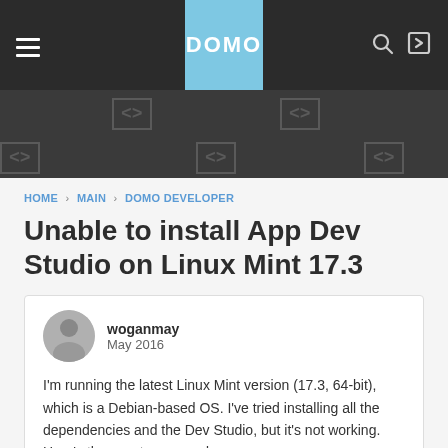[Figure (screenshot): DOMO website navigation bar with hamburger menu, DOMO logo in light blue box, search and login icons on dark background, followed by a code icons banner with <> symbols on dark grey background]
HOME › MAIN › DOMO DEVELOPER
Unable to install App Dev Studio on Linux Mint 17.3
woganmay
May 2016
I'm running the latest Linux Mint version (17.3, 64-bit), which is a Debian-based OS. I've tried installing all the dependencies and the Dev Studio, but it's not working. Here's the exact commands